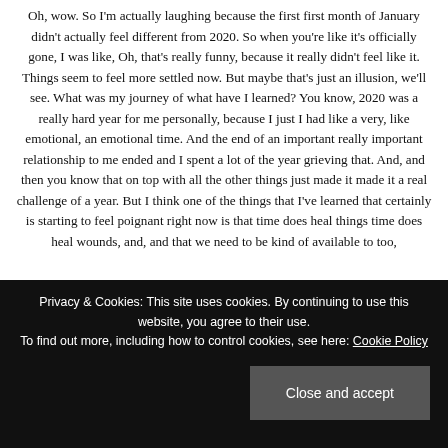Oh, wow. So I'm actually laughing because the first first month of January didn't actually feel different from 2020. So when you're like it's officially gone, I was like, Oh, that's really funny, because it really didn't feel like it. Things seem to feel more settled now. But maybe that's just an illusion, we'll see. What was my journey of what have I learned? You know, 2020 was a really hard year for me personally, because I just I had like a very, like emotional, an emotional time. And the end of an important really important relationship to me ended and I spent a lot of the year grieving that. And, and then you know that on top with all the other things just made it made it a real challenge of a year. But I think one of the things that I've learned that certainly is starting to feel poignant right now is that time does heal things time does heal wounds, and, and that we need to be kind of available to too,
Privacy & Cookies: This site uses cookies. By continuing to use this website, you agree to their use. To find out more, including how to control cookies, see here: Cookie Policy
What's next? Yeah.